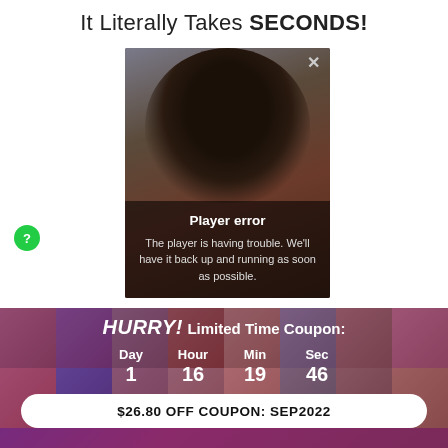It Literally Takes SECONDS!
[Figure (screenshot): Video player showing a person's face with a 'Player error' overlay message: 'The player is having trouble. We'll have it back up and running as soon as possible.' with a close (X) button in the top right.]
HURRY! Limited Time Coupon:
Day 1 | Hour 16 | Min 19 | Sec 46
$26.80 OFF COUPON: SEP2022